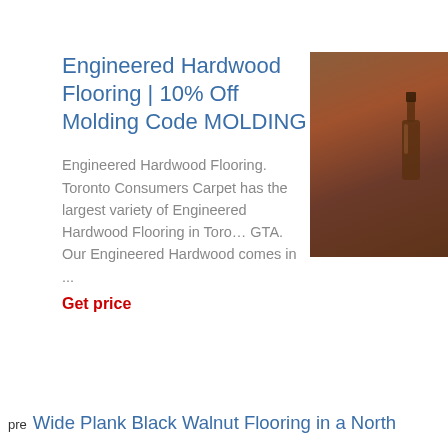Engineered Hardwood Flooring | 10% Off Molding Code MOLDING
Engineered Hardwood Flooring. Toronto Consumers Carpet has the largest variety of Engineered Hardwood Flooring in Toronto GTA. Our Engineered Hardwood comes in ...
Get price
[Figure (photo): Photo of hardwood flooring with a dark glass bottle visible, showing brown wood grain texture]
pre Wide Plank Black Walnut Flooring in a North